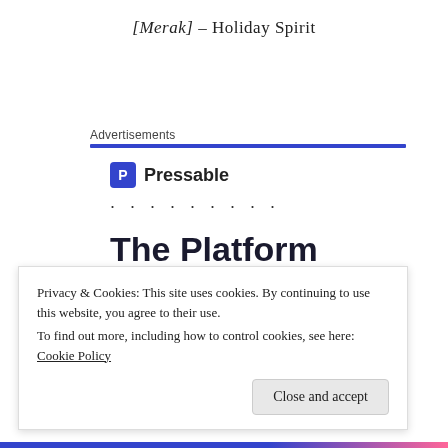[Merak] – Holiday Spirit
Advertisements
[Figure (logo): Pressable logo: blue square icon with letter P followed by text 'Pressable' and a row of dots below]
The Platform Where WordPress Works Best
SEE PRICING
Privacy & Cookies: This site uses cookies. By continuing to use this website, you agree to their use. To find out more, including how to control cookies, see here: Cookie Policy
Close and accept